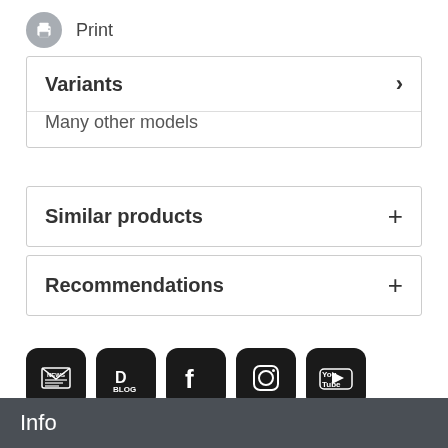Print
Variants
Many other models
Similar products
Recommendations
[Figure (infographic): Row of five social media icons: Newsletter/News, Blog (with D logo), Facebook, Instagram, YouTube]
Info